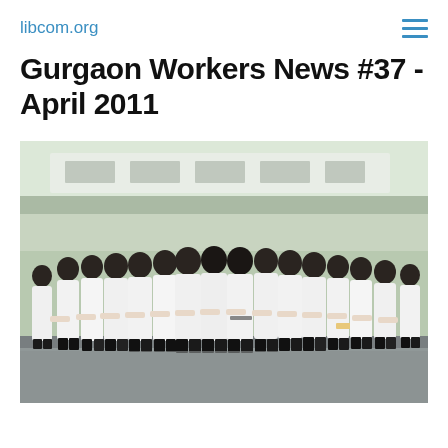libcom.org
Gurgaon Workers News #37 - April 2011
[Figure (photo): Group of people wearing white uniforms standing in a circle outdoors, viewed mostly from behind, in front of a building with signage. The image appears to show factory or plant workers gathered together.]